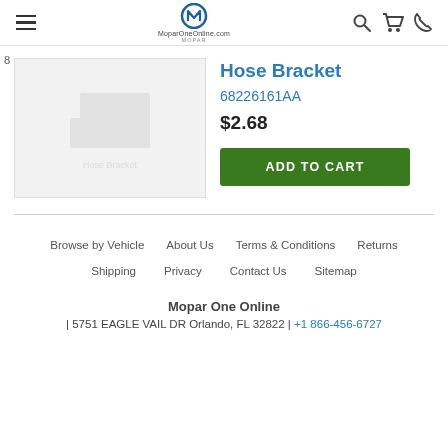MoparOneOnline.com
[Figure (photo): Product image placeholder for Hose Bracket, item number 8]
Hose Bracket
68226161AA
$2.68
ADD TO CART
Browse by Vehicle   About Us   Terms & Conditions   Returns   Shipping   Privacy   Contact Us   Sitemap   Mopar One Online | 5751 EAGLE VAIL DR Orlando, FL 32822 | +1 866-456-6727